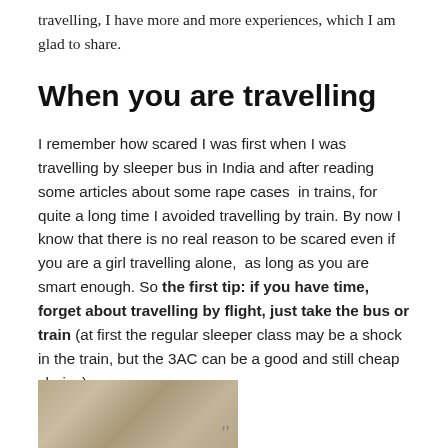travelling, I have more and more experiences, which I am glad to share.
When you are travelling
I remember how scared I was first when I was travelling by sleeper bus in India and after reading some articles about some rape cases  in trains, for quite a long time I avoided travelling by train. By now I know that there is no real reason to be scared even if you are a girl travelling alone,  as long as you are smart enough. So the first tip: if you have time, forget about travelling by flight, just take the bus or train (at first the regular sleeper class may be a shock in the train, but the 3AC can be a good and still cheap choice).
[Figure (photo): A photograph, partially visible at the bottom of the page, showing a natural outdoor scene with rocks or foliage in muted brown and grey tones, with a quotation mark watermark in the bottom right.]